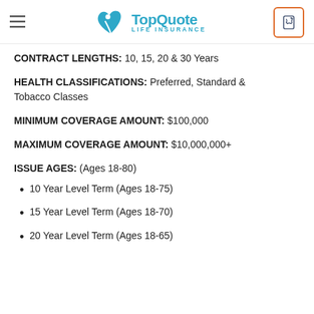TopQuote LIFE INSURANCE
CONTRACT LENGTHS: 10, 15, 20 & 30 Years
HEALTH CLASSIFICATIONS: Preferred, Standard & Tobacco Classes
MINIMUM COVERAGE AMOUNT: $100,000
MAXIMUM COVERAGE AMOUNT: $10,000,000+
ISSUE AGES: (Ages 18-80)
10 Year Level Term (Ages 18-75)
15 Year Level Term (Ages 18-70)
20 Year Level Term (Ages 18-65)